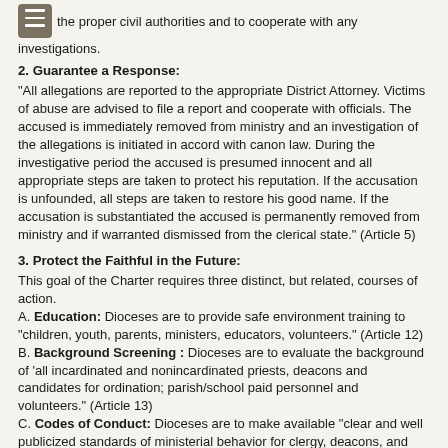encourage all those who make an allegation of abuse to file reports with the proper civil authorities and to cooperate with any investigations.
2. Guarantee a Response:
“All allegations are reported to the appropriate District Attorney. Victims of abuse are advised to file a report and cooperate with officials. The accused is immediately removed from ministry and an investigation of the allegations is initiated in accord with canon law. During the investigative period the accused is presumed innocent and all appropriate steps are taken to protect his reputation. If the accusation is unfounded, all steps are taken to restore his good name. If the accusation is substantiated the accused is permanently removed from ministry and if warranted dismissed from the clerical state.” (Article 5)
3. Protect the Faithful in the Future:
This goal of the Charter requires three distinct, but related, courses of action.
A. Education: Dioceses are to provide safe environment training to “children, youth, parents, ministers, educators, volunteers.” (Article 12)
B. Background Screening : Dioceses are to evaluate the background of ‘all incardinated and nonincardinated priests, deacons and candidates for ordination; parish/school paid personnel and volunteers.” (Article 13)
C. Codes of Conduct: Dioceses are to make available “clear and well publicized standards of ministerial behavior for clergy, deacons, and other church personnel.”
To achieve these objectives, the Diocese of Rockville Centre requires all clergy, employees and volunteers to:
Participation in Virtus: Protecting God’s Children program
Undergo a Background screening
Sign a Code of Conduct